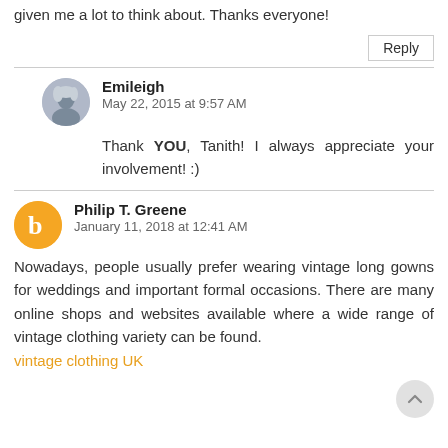given me a lot to think about. Thanks everyone!
Reply
Emileigh
May 22, 2015 at 9:57 AM
Thank YOU, Tanith! I always appreciate your involvement! :)
Philip T. Greene
January 11, 2018 at 12:41 AM
Nowadays, people usually prefer wearing vintage long gowns for weddings and important formal occasions. There are many online shops and websites available where a wide range of vintage clothing variety can be found.
vintage clothing UK